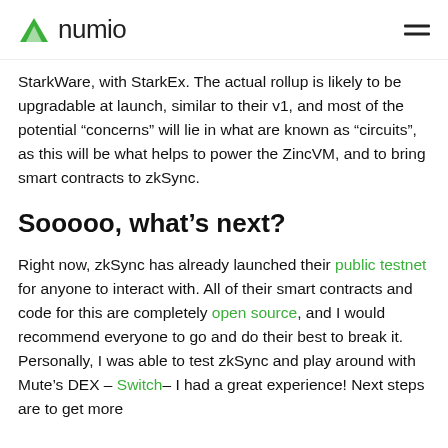numio (logo)
StarkWare, with StarkEx. The actual rollup is likely to be upgradable at launch, similar to their v1, and most of the potential “concerns” will lie in what are known as “circuits”, as this will be what helps to power the ZincVM, and to bring smart contracts to zkSync.
Sooooo, what’s next?
Right now, zkSync has already launched their public testnet for anyone to interact with. All of their smart contracts and code for this are completely open source, and I would recommend everyone to go and do their best to break it. Personally, I was able to test zkSync and play around with Mute’s DEX – Switch– I had a great experience! Next steps are to get more